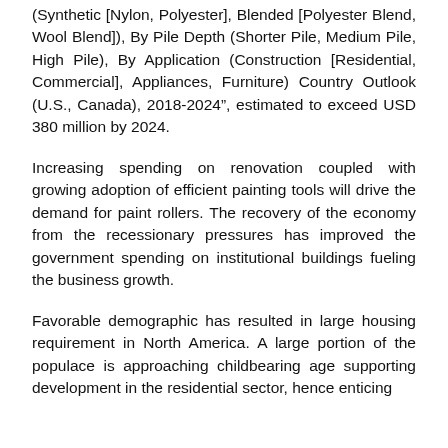(Synthetic [Nylon, Polyester], Blended [Polyester Blend, Wool Blend]), By Pile Depth (Shorter Pile, Medium Pile, High Pile), By Application (Construction [Residential, Commercial], Appliances, Furniture) Country Outlook (U.S., Canada), 2018-2024”, estimated to exceed USD 380 million by 2024.
Increasing spending on renovation coupled with growing adoption of efficient painting tools will drive the demand for paint rollers. The recovery of the economy from the recessionary pressures has improved the government spending on institutional buildings fueling the business growth.
Favorable demographic has resulted in large housing requirement in North America. A large portion of the populace is approaching childbearing age supporting development in the residential sector, hence enticing